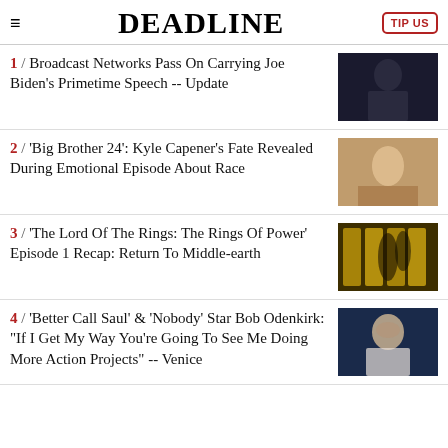DEADLINE
1 / Broadcast Networks Pass On Carrying Joe Biden's Primetime Speech -- Update
2 / 'Big Brother 24': Kyle Capener's Fate Revealed During Emotional Episode About Race
3 / 'The Lord Of The Rings: The Rings Of Power' Episode 1 Recap: Return To Middle-earth
4 / 'Better Call Saul' & 'Nobody' Star Bob Odenkirk: "If I Get My Way You're Going To See Me Doing More Action Projects" -- Venice